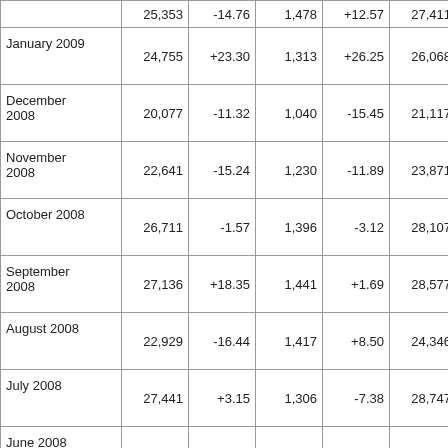|  | 25,353 | -14.76 | 1,478 | +12.57 | 27,411 | +5.13 |
| January 2009 | 24,755 | +23.30 | 1,313 | +26.25 | 26,068 | +23.45 |
| December 2008 | 20,077 | -11.32 | 1,040 | -15.45 | 21,117 | -11.54 |
| November 2008 | 22,641 | -15.24 | 1,230 | -11.89 | 23,871 | -15.07 |
| October 2008 | 26,711 | -1.57 | 1,396 | -3.12 | 28,107 | -1.57 |
| September 2008 | 27,136 | +18.35 | 1,441 | +1.69 | 28,577 | +17.38 |
| August 2008 | 22,929 | -16.44 | 1,417 | +8.50 | 24,346 | -15.31 |
| July 2008 | 27,441 | +3.15 | 1,306 | -7.38 | 28,747 | +2.62 |
| June 2008 | 26,603 | +4.93 | 1,410 | -4.79 | 28,013 | +4.39 |
| May 2008 | 25,353 | -18.90 | 1,481 | -10.78 | 26,834 | -18.49 |
|  |  |  |  |  |  |  |